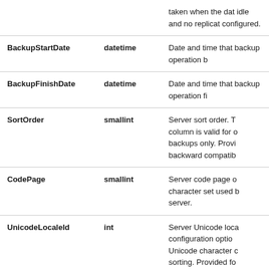| Column | Type | Description |
| --- | --- | --- |
|  |  | taken when the dat idle and no replicat configured. |
| BackupStartDate | datetime | Date and time that backup operation b |
| BackupFinishDate | datetime | Date and time that backup operation fi |
| SortOrder | smallint | Server sort order. T column is valid for backups only. Provi backward compatib |
| CodePage | smallint | Server code page o character set used b server. |
| UnicodeLocaleId | int | Server Unicode loca configuration optio Unicode character c sorting. Provided fo |